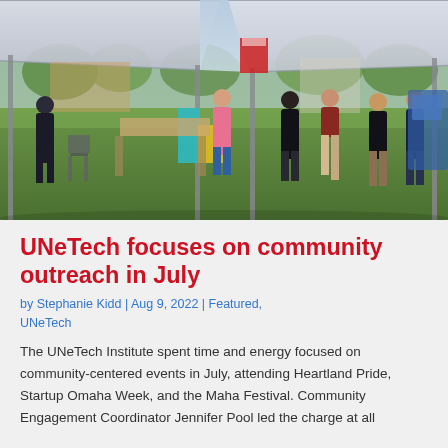[Figure (photo): Outdoor community event with vendor tents and people gathered on a grass area, with white/grey canopy tents overhead. Multiple attendees are visible browsing displays or walking through the event space.]
UNeTech focuses on community outreach in July
by Stephanie Kidd | Aug 9, 2022 | Featured, UNeTech
The UNeTech Institute spent time and energy focused on community-centered events in July, attending Heartland Pride, Startup Omaha Week, and the Maha Festival. Community Engagement Coordinator Jennifer Pool led the charge at all